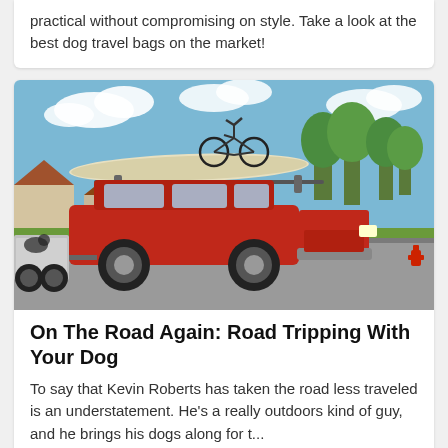practical without compromising on style. Take a look at the best dog travel bags on the market!
[Figure (photo): A red SUV with a canoe and bicycle mounted on its roof rack, towing an open trailer, parked on a road with trees and suburban buildings in the background on a sunny day.]
On The Road Again: Road Tripping With Your Dog
To say that Kevin Roberts has taken the road less traveled is an understatement. He's a really outdoors kind of guy, and he brings his dogs along for t...